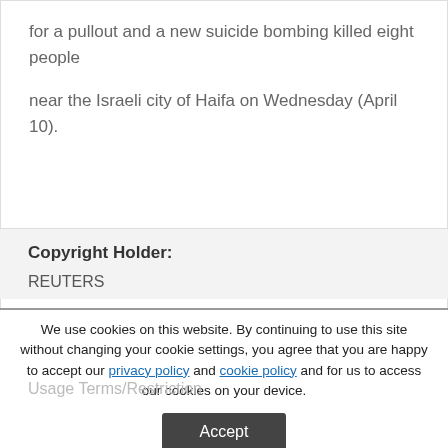for a pullout and a new suicide bombing killed eight people
near the Israeli city of Haifa on Wednesday (April 10).
Copyright Holder:
REUTERS
We use cookies on this website. By continuing to use this site without changing your cookie settings, you agree that you are happy to accept our privacy policy and cookie policy and for us to access our cookies on your device.
Accept
Usage Terms/Restriction